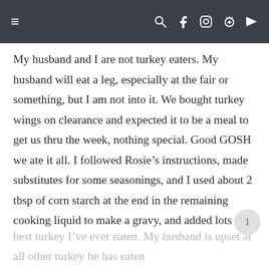≡  🔍 f 📷 p ▶
My husband and I are not turkey eaters. My husband will eat a leg, especially at the fair or something, but I am not into it. We bought turkey wings on clearance and expected it to be a meal to get us thru the week, nothing special. Good GOSH we ate it all. I followed Rosie's instructions, made substitutes for some seasonings, and I used about 2 tbsp of corn starch at the end in the remaining cooking liquid to make a gravy, and added lots of salt to it, because our turkey ended up not getting salted… it didn't matter. Hands down the best turkey I've ever eaten. My husband is upset at all other turkey he has eaten